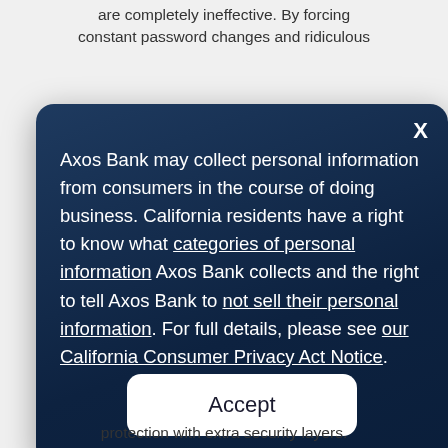are completely ineffective. By forcing constant password changes and ridiculous
[Figure (screenshot): A modal dialog box with a dark navy blue background and rounded corners. An 'X' close button is in the top-right corner. The modal contains text about Axos Bank collecting personal information and California resident rights, with underlined hyperlinks for 'categories of personal information', 'not sell their personal information', and 'our California Consumer Privacy Act Notice'. A white rounded 'Accept' button appears at the bottom.]
protection with extra security layers.